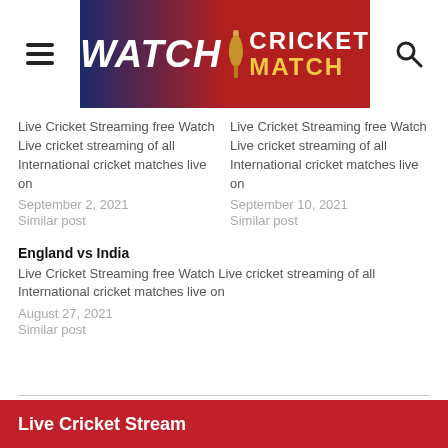[Figure (logo): Watch Cricket Match website header banner with hamburger menu icon on left, Watch Cricket Match logo in center (dark blue to red gradient background with bat icon), and search icon on right]
Live Cricket Streaming free Watch Live cricket streaming of all International cricket matches live on
September 2, 2021
Similar post
Live Cricket Streaming free Watch Live cricket streaming of all International cricket matches live on
September 10, 2021
Similar post
England vs India
Live Cricket Streaming free Watch Live cricket streaming of all International cricket matches live on
August 27, 2021
Similar post
Live Cricket Stream